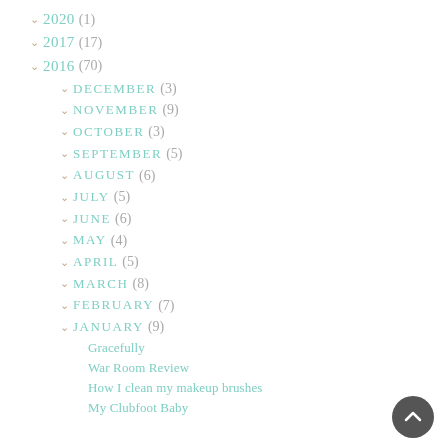2020 (1)
2017 (17)
2016 (70)
DECEMBER (3)
NOVEMBER (9)
OCTOBER (3)
SEPTEMBER (5)
AUGUST (6)
JULY (5)
JUNE (6)
MAY (4)
APRIL (5)
MARCH (8)
FEBRUARY (7)
JANUARY (9)
Gracefully
War Room Review
How I clean my makeup brushes
My Clubfoot Baby